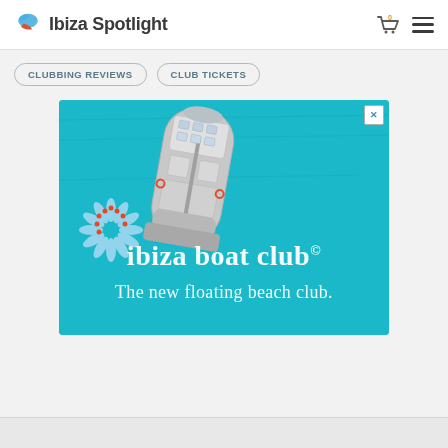Ibiza Spotlight
CLUBBING REVIEWS
CLUB TICKETS
[Figure (photo): Aerial view of a large boat/yacht on turquoise water with text overlay reading 'ibiza boat club© The new floating beach club.' and a decorative blue flower with orange dots logo in the lower left corner.]